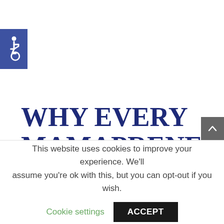[Figure (logo): Blue square accessibility/wheelchair icon in the top-left corner]
WHY EVERY MAMAPRENEUR NEEDS A BRAIN
This website uses cookies to improve your experience. We'll assume you're ok with this, but you can opt-out if you wish.
Cookie settings   ACCEPT